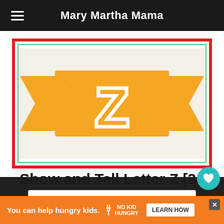Mary Martha Mama
[Figure (illustration): Golden/yellow ribbon banner with the letter Z in white, displayed on a white card with red border and green inner border]
Show and Tell Letter Z [34 Ideas] →
Jess
Sunday 22nd of April 2018
[Figure (infographic): Orange advertisement bar at the bottom: 'You can help hungry kids.' with No Kid Hungry logo and LEARN HOW button]